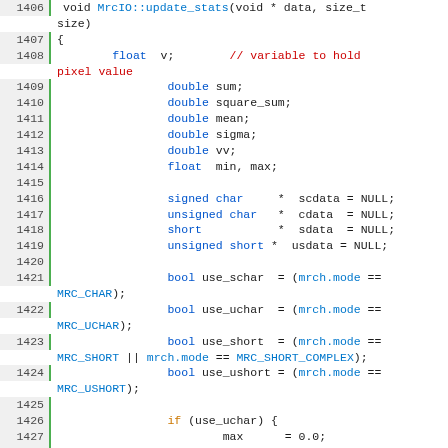[Figure (screenshot): Source code viewer showing C++ function MrcIO::update_stats lines 1406-1433 with syntax highlighting. Line numbers shown on left with green bar separator. Keywords in orange/blue, comments in red, identifiers in dark color.]